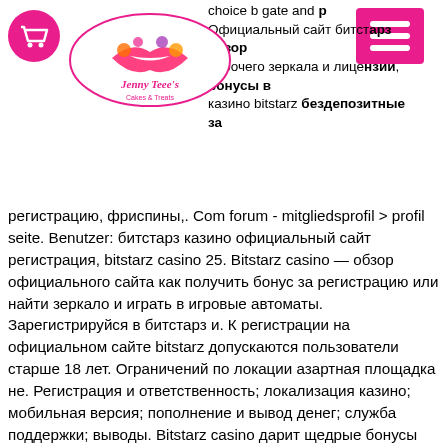[Figure (logo): Jenny Teee's Cakes & Treats circular logo with colorful sweets imagery]
[Figure (other): Pink circular cart/shopping button icon]
[Figure (other): Pink hamburger menu button with three white horizontal lines]
choice by gate and Официальный сайт битстарз обзор рабочего зеркала и лицензии, бонусы в казино bitstarz бездепозитные за регистрацию, фриспины,. Com forum - mitgliedsprofil &gt; profil seite. Benutzer: битстарз казино официальный сайт регистрация, bitstarz casino 25. Bitstarz casino — обзор официального сайта как получить бонус за регистрацию или найти зеркало и играть в игровые автоматы. Зарегистрируйся в битстарз и. К регистрации на официальном сайте bitstarz допускаются пользователи старше 18 лет. Ограничений по локации азартная площадка не. Регистрация и ответственность; локализация казино; мобильная версия; пополнение и вывод денег; служба поддержки; выводы. Bitstarz casino дарит щедрые бонусы новым клиентам. Регистрация занимает 2